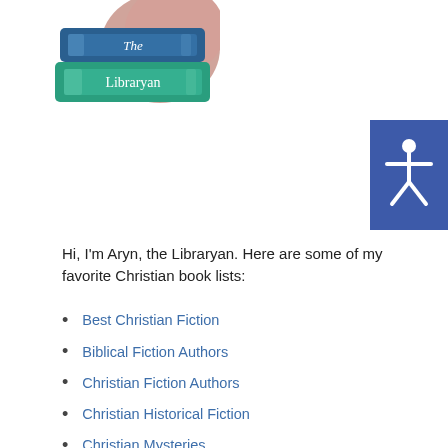[Figure (logo): The Libraryan logo — stacked books in blue and teal with a hand holding them, italic text 'The' on top book and 'Libraryan' on lower book]
[Figure (infographic): Accessibility icon — white person figure with arms spread on blue/purple square background]
Hi, I'm Aryn, the Libraryan. Here are some of my favorite Christian book lists:
Best Christian Fiction
Biblical Fiction Authors
Christian Fiction Authors
Christian Historical Fiction
Christian Mysteries
Christian Romance Stories
Christian Time Travel Books
Christian Allegory Books
Christian Fantasy Books